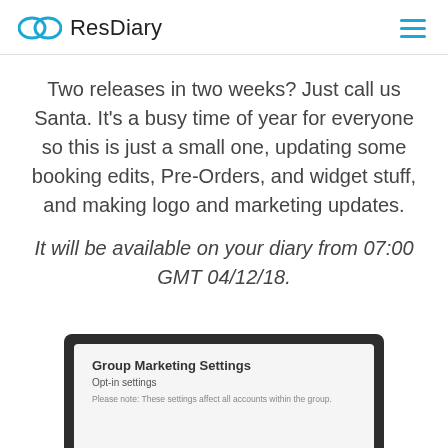ResDiary
Two releases in two weeks? Just call us Santa. It's a busy time of year for everyone so this is just a small one, updating some booking edits, Pre-Orders, and widget stuff, and making logo and marketing updates.
It will be available on your diary from 07:00 GMT 04/12/18.
[Figure (screenshot): Screenshot of a browser window showing 'Group Marketing Settings' with 'Opt-in settings' and a note about settings affecting all accounts within the group.]